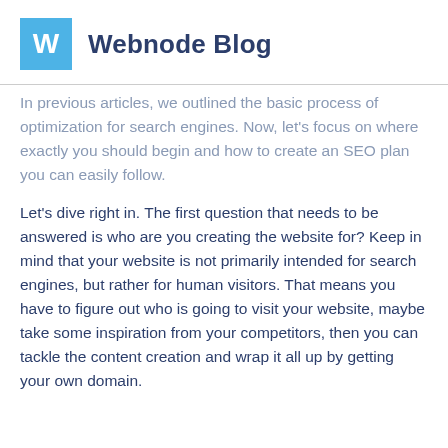W  Webnode Blog
In previous articles, we outlined the basic process of optimization for search engines. Now, let’s focus on where exactly you should begin and how to create an SEO plan you can easily follow.
Let’s dive right in. The first question that needs to be answered is who are you creating the website for? Keep in mind that your website is not primarily intended for search engines, but rather for human visitors. That means you have to figure out who is going to visit your website, maybe take some inspiration from your competitors, then you can tackle the content creation and wrap it all up by getting your own domain.